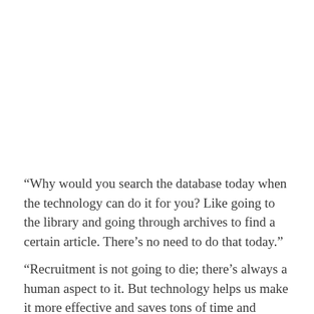“Why would you search the database today when the technology can do it for you? Like going to the library and going through archives to find a certain article. There’s no need to do that today.”
“Recruitment is not going to die; there’s always a human aspect to it. But technology helps us make it more effective and saves tons of time and money for